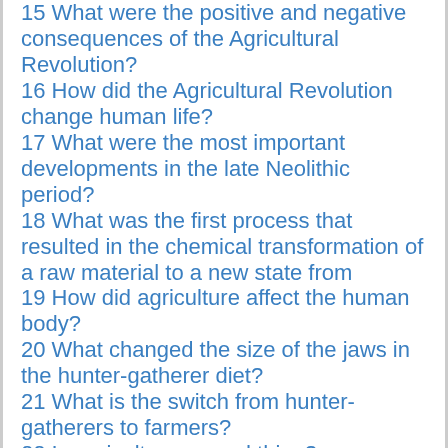15 What were the positive and negative consequences of the Agricultural Revolution?
16 How did the Agricultural Revolution change human life?
17 What were the most important developments in the late Neolithic period?
18 What was the first process that resulted in the chemical transformation of a raw material to a new state from
19 How did agriculture affect the human body?
20 What changed the size of the jaws in the hunter-gatherer diet?
21 What is the switch from hunter-gatherers to farmers?
22 Is agriculture a good thing?
23 How does agriculture affect biodiversity?
24 Why is agriculture important?
25 How does agriculture help the